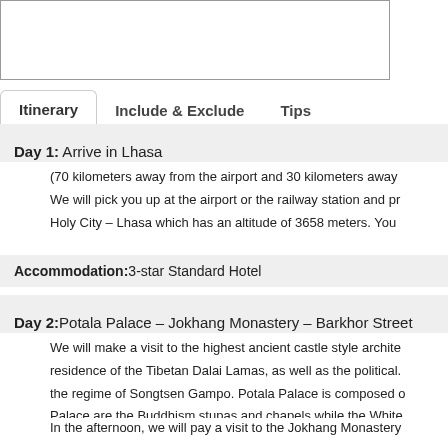[Figure (other): Image placeholder box at top of page]
Itinerary | Include & Exclude | Tips
Day 1: Arrive in Lhasa
(70 kilometers away from the airport and 30 kilometers away
We will pick you up at the airport or the railway station and pr
Holy City – Lhasa which has an altitude of 3658 meters. You
Accommodation:3-star Standard Hotel
Day 2:Potala Palace – Jokhang Monastery – Barkhor Street
We will make a visit to the highest ancient castle style archite
residence of the Tibetan Dalai Lamas, as well as the political.
the regime of Songtsen Gampo. Potala Palace is composed o
Palace are the Buddhism stupas and chapels while the White
In the afternoon, we will pay a visit to the Jokhang Monastery